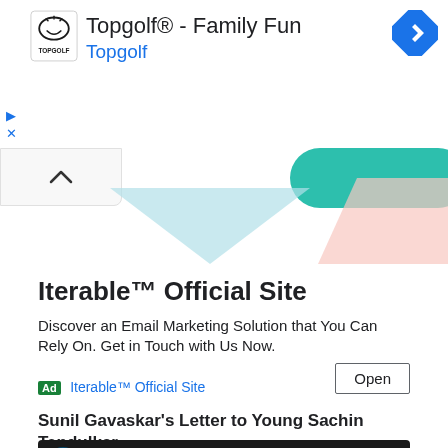[Figure (screenshot): Topgolf ad banner with logo, title 'Topgolf® - Family Fun', subtitle 'Topgolf', play/close controls, and a blue navigation arrow icon on the right]
[Figure (illustration): Decorative graphic strip with teal, light blue, and pink geometric shapes on white background]
Iterable™ Official Site
Discover an Email Marketing Solution that You Can Rely On. Get in Touch with Us Now.
Ad  Iterable™ Official Site
Open
Sunil Gavaskar's Letter to Young Sachin Tendulkar
[Figure (screenshot): Niche Sports video thumbnail with dark background, Niche Sports logo, and title 'Niche Sports Anecdotes: Sunil Gav...' with three-dot menu icon]